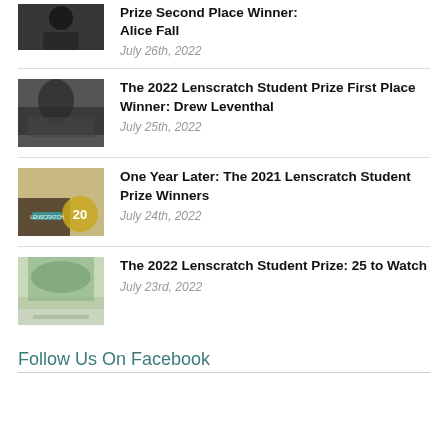Prize Second Place Winner: Alice Fall — July 26th, 2022
The 2022 Lenscratch Student Prize First Place Winner: Drew Leventhal — July 25th, 2022
One Year Later: The 2021 Lenscratch Student Prize Winners — July 24th, 2022
The 2022 Lenscratch Student Prize: 25 to Watch — July 23rd, 2022
Follow Us On Facebook